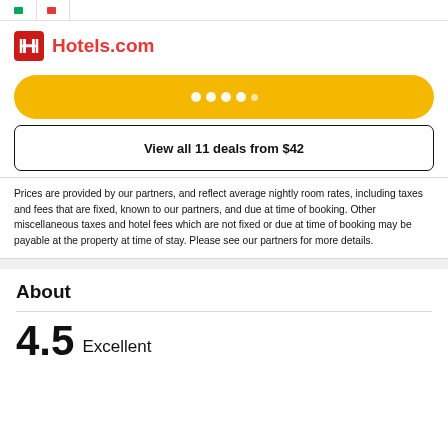[Figure (logo): Hotels.com logo with red H icon and red text]
[Figure (other): Yellow rounded button with white dots (loading indicator)]
View all 11 deals from $42
Prices are provided by our partners, and reflect average nightly room rates, including taxes and fees that are fixed, known to our partners, and due at time of booking. Other miscellaneous taxes and hotel fees which are not fixed or due at time of booking may be payable at the property at time of stay. Please see our partners for more details.
About
4.5 Excellent